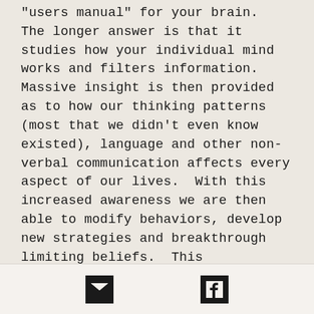"users manual" for your brain. The longer answer is that it studies how your individual mind works and filters information.  Massive insight is then provided as to how our thinking patterns (most that we didn't even know existed), language and other non-verbal communication affects every aspect of our lives.  With this increased awareness we are then able to modify behaviors, develop new strategies and breakthrough limiting beliefs.  This drastically improves confidence, communication skills, social interactions and overall wellbeing. I'll get your unconscious mind and conscious mind
[Figure (other): Footer with email icon and Facebook icon on a light background]